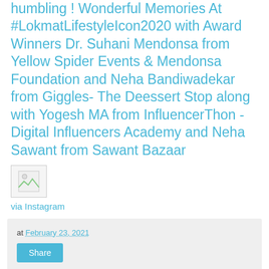humbling ! Wonderful Memories At #LokmatLifestyleIcon2020 with Award Winners Dr. Suhani Mendonsa from Yellow Spider Events & Mendonsa Foundation and Neha Bandiwadekar from Giggles- The Deessert Stop along with Yogesh MA from InfluencerThon - Digital Influencers Academy and Neha Sawant from Sawant Bazaar
[Figure (illustration): Small broken image placeholder icon]
via Instagram
at February 23, 2021
Share